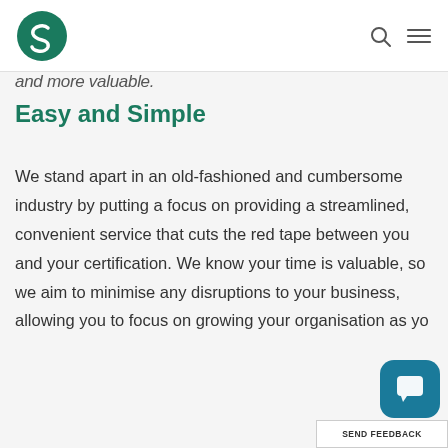[Logo: S] [Search icon] [Menu icon]
and more valuable.
Easy and Simple
We stand apart in an old-fashioned and cumbersome industry by putting a focus on providing a streamlined, convenient service that cuts the red tape between you and your certification. We know your time is valuable, so we aim to minimise any disruptions to your business, allowing you to focus on growing your organisation as yo